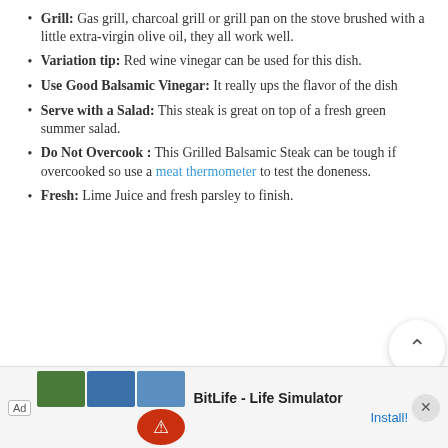Grill: Gas grill, charcoal grill or grill pan on the stove brushed with a little extra-virgin olive oil, they all work well.
Variation tip: Red wine vinegar can be used for this dish.
Use Good Balsamic Vinegar: It really ups the flavor of the dish
Serve with a Salad: This steak is great on top of a fresh green summer salad.
Do Not Overcook : This Grilled Balsamic Steak can be tough if overcooked so use a meat thermometer to test the doneness.
Fresh: Lime Juice and fresh parsley to finish.
[Figure (other): Ad banner for BitLife - Life Simulator app with Install button and close button]